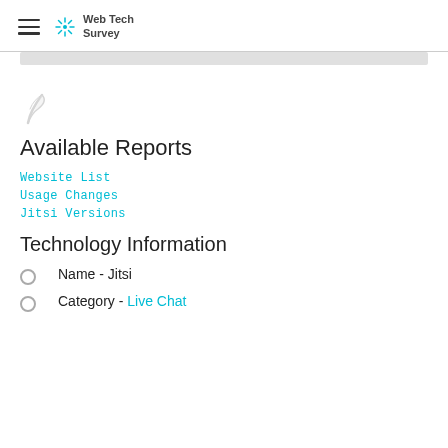Web Tech Survey
[Figure (logo): Web Tech Survey logo with teal snowflake/star icon and text 'Web Tech Survey']
[Figure (illustration): Small gray feather/quill icon]
Available Reports
Website List
Usage Changes
Jitsi Versions
Technology Information
Name - Jitsi
Category - Live Chat